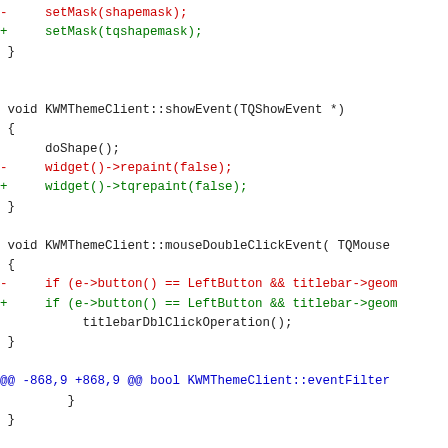[Figure (screenshot): Code diff showing changes to KWMThemeClient methods including setMask, showEvent, mouseDoubleClickEvent, minimumSize. Red lines show removed code, green lines show added code, black lines show context.]